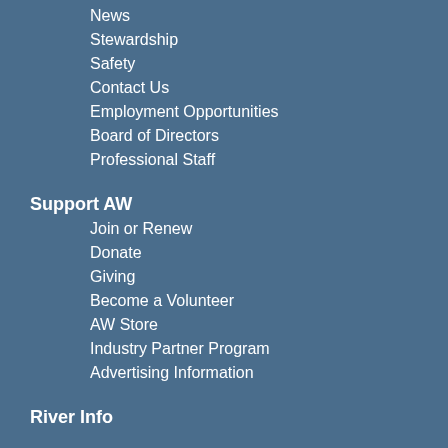News
Stewardship
Safety
Contact Us
Employment Opportunities
Board of Directors
Professional Staff
Support AW
Join or Renew
Donate
Giving
Become a Volunteer
AW Store
Industry Partner Program
Advertising Information
River Info
Library
AW Journal
Logos
Community